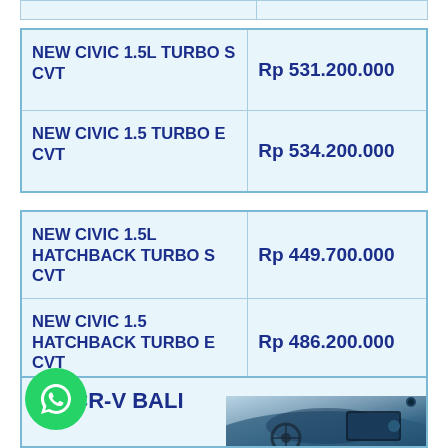| Model | Price |
| --- | --- |
| NEW CIVIC 1.5L TURBO S CVT | Rp 531.200.000 |
| NEW CIVIC 1.5 TURBO E CVT | Rp 534.200.000 |
| Model | Price |
| --- | --- |
| NEW CIVIC 1.5L HATCHBACK TURBO S CVT | Rp 449.700.000 |
| NEW CIVIC 1.5 HATCHBACK TURBO E CVT | Rp 486.200.000 |
GA CR-V BALI
[Figure (photo): Interior dashboard view of CR-V showing steering wheel and infotainment screen]